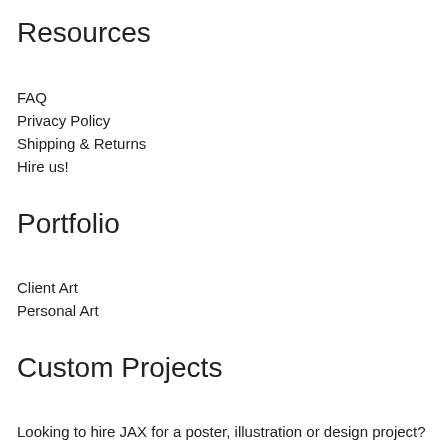Resources
FAQ
Privacy Policy
Shipping & Returns
Hire us!
Portfolio
Client Art
Personal Art
Custom Projects
Looking to hire JAX for a poster, illustration or design project?
FIll out the Hire us form